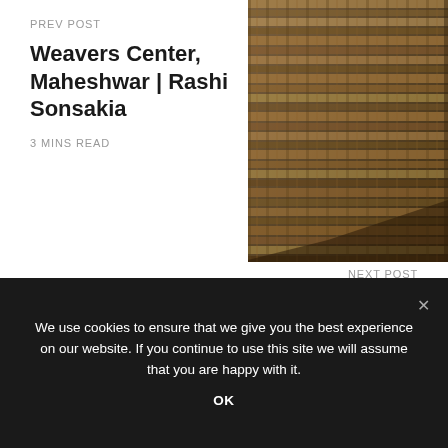PREV POST
Weavers Center, Maheshwar | Rashi Sonsakia
3 MINS READ
[Figure (photo): Close-up texture photo of woven bamboo or reed material, showing tight weave pattern in warm brown tones]
NEXT POST
Cocoon | Manasaram Architects
3 MINS READ
Related Posts
We use cookies to ensure that we give you the best experience on our website. If you continue to use this site we will assume that you are happy with it.
OK